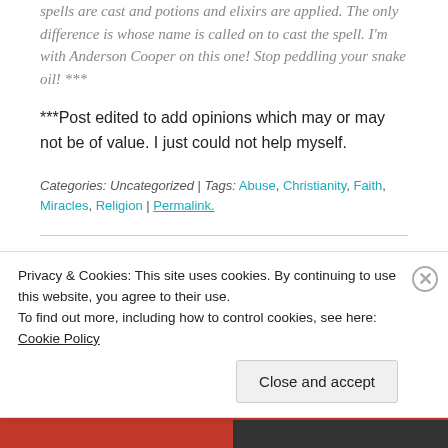spells are cast and potions and elixirs are applied. The only difference is whose name is called on to cast the spell. I'm with Anderson Cooper on this one! Stop peddling your snake oil! ***
***Post edited to add opinions which may or may not be of value. I just could not help myself.
Categories: Uncategorized | Tags: Abuse, Christianity, Faith, Miracles, Religion | Permalink.
Does God Speak?
Privacy & Cookies: This site uses cookies. By continuing to use this website, you agree to their use.
To find out more, including how to control cookies, see here: Cookie Policy
Close and accept